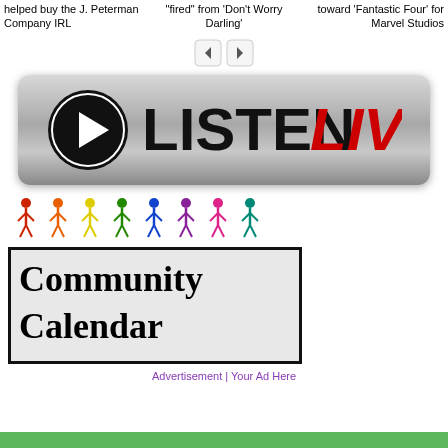helped buy the J. Peterman Company IRL
“fired” from ‘Don’t Worry Darling’
toward ‘Fantastic Four’ for Marvel Studios
[Figure (other): Left and right arrow navigation buttons]
[Figure (logo): Listen LIVE radio banner with play button icon. Black play circle on left, bold black LISTEN text, bold red LIVE text, on a metallic gradient background]
[Figure (logo): Community Calendar graphic: colorful stick figures across the top, black bordered box with bold serif text reading Community Calendar]
Advertisement | Your Ad Here